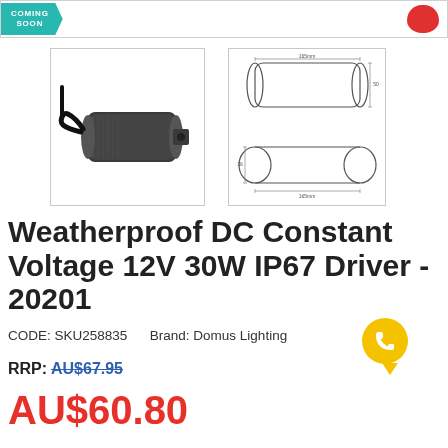[Figure (other): Top banner with 'Coming Soon' teal badge on left and red speech bubble on right]
[Figure (photo): Product photo of a dark grey weatherproof LED driver unit with black cable]
[Figure (engineering-diagram): Technical schematic drawing showing top and side views of the LED driver with dimensions]
Weatherproof DC Constant Voltage 12V 30W IP67 Driver - 20201
CODE: SKU258835    Brand: Domus Lighting
RRP: AU$67.95
AU$60.80